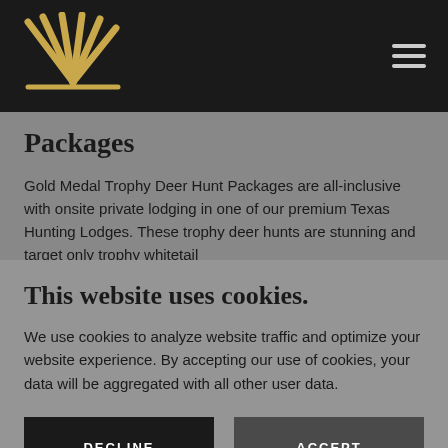Navigation bar with logo and hamburger menu
Packages
Gold Medal Trophy Deer Hunt Packages are all-inclusive with onsite private lodging in one of our premium Texas Hunting Lodges. These trophy deer hunts are stunning and target only trophy whitetail
This website uses cookies.
We use cookies to analyze website traffic and optimize your website experience. By accepting our use of cookies, your data will be aggregated with all other user data.
DECLINE
ACCEPT